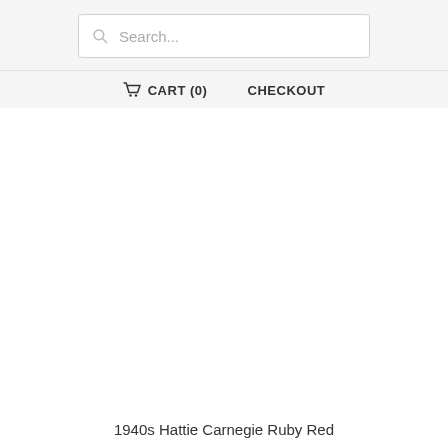Search...
CART (0)  CHECKOUT
[Figure (photo): Large white/blank product image area for a vintage jewelry item]
1940s Hattie Carnegie Ruby Red